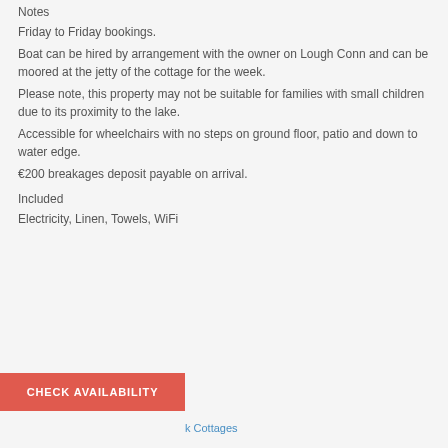Notes
Friday to Friday bookings.
Boat can be hired by arrangement with the owner on Lough Conn and can be moored at the jetty of the cottage for the week.
Please note, this property may not be suitable for families with small children due to its proximity to the lake.
Accessible for wheelchairs with no steps on ground floor, patio and down to water edge.
€200 breakages deposit payable on arrival.
Included
Electricity, Linen, Towels, WiFi
CHECK AVAILABILITY
k Cottages